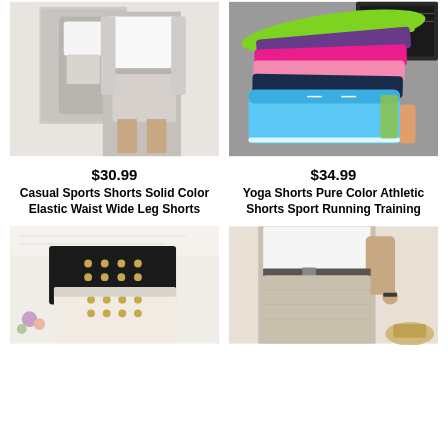[Figure (photo): Woman wearing light gray casual sports shorts with white top, standing in front of mirror]
[Figure (photo): Multiple colorful yoga/athletic shorts in various colors (blue, pink, purple, green, black) stacked/fanned out]
$30.99
Casual Sports Shorts Solid Color Elastic Waist Wide Leg Shorts
$34.99
Yoga Shorts Pure Color Athletic Shorts Sport Running Training
[Figure (photo): Black and cream/white button-front high-waist shorts stacked]
[Figure (photo): Woman wearing light gray/linen wide-leg shorts with white top and belt]